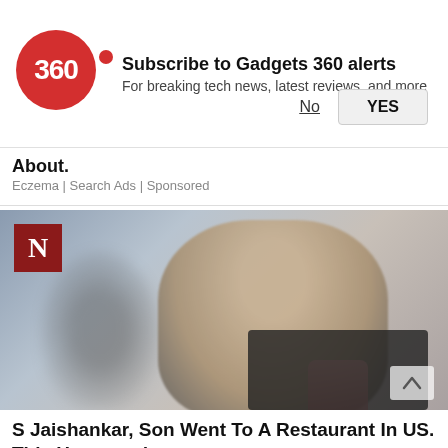[Figure (infographic): Gadgets 360 notification subscription banner with red circular logo showing '360', bold text 'Subscribe to Gadgets 360 alerts', subtitle 'For breaking tech news, latest reviews, and more', with 'No' and 'YES' buttons]
About.
Eczema | Search Ads | Sponsored
[Figure (photo): Man in suit with grey hair and glasses speaking, with blurred figure in background. News outlet logo 'N' in red square in top left corner. Scroll-up button bottom right.]
S Jaishankar, Son Went To A Restaurant In US. This Happened